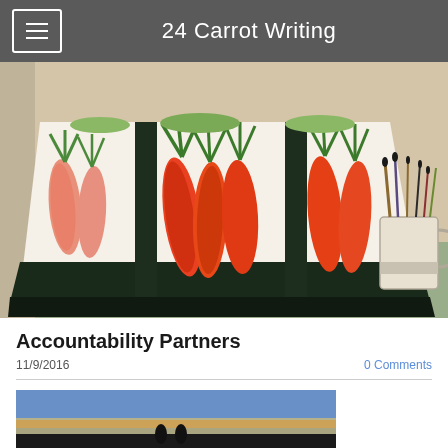24 Carrot Writing
[Figure (photo): A canvas tote bag with carrot illustrations sitting on a surface, with a cup of paintbrushes visible in the background.]
Accountability Partners
11/9/2016
0 Comments
[Figure (photo): Partially visible image at the bottom of the page, appears to show a landscape with figures.]